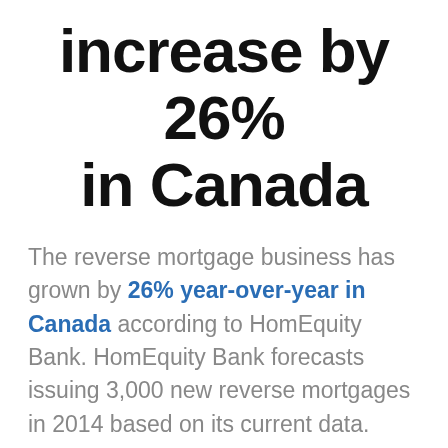increase by 26% in Canada
The reverse mortgage business has grown by 26% year-over-year in Canada according to HomEquity Bank. HomEquity Bank forecasts issuing 3,000 new reverse mortgages in 2014 based on its current data.
Reverse mortgages are on the rise for many reasons, including increased consumer education on their feasibility, a widening decline in Canadian retirement savings, and the attractiveness of being able to take out a home...